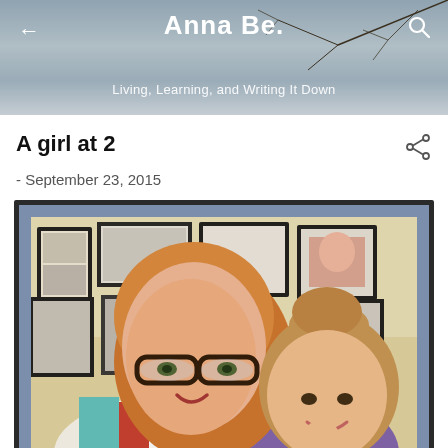Anna Be. — Living, Learning, and Writing It Down
A girl at 2
- September 23, 2015
[Figure (photo): A woman with red/blonde hair and dark-rimmed glasses smiling, with a young toddler girl beside her, indoors with framed pictures on the wall in the background.]